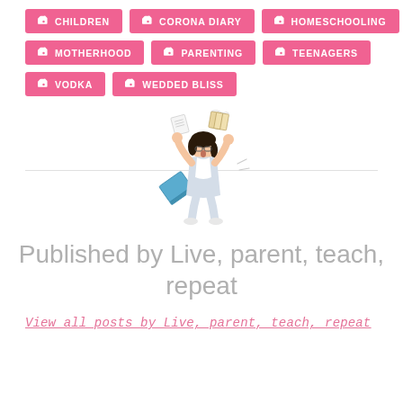CHILDREN
CORONA DIARY
HOMESCHOOLING
MOTHERHOOD
PARENTING
TEENAGERS
VODKA
WEDDED BLISS
[Figure (illustration): Cartoon illustration of a woman with dark hair throwing papers and a laptop in the air, looking stressed or overwhelmed]
Published by Live, parent, teach, repeat
View all posts by Live, parent, teach, repeat